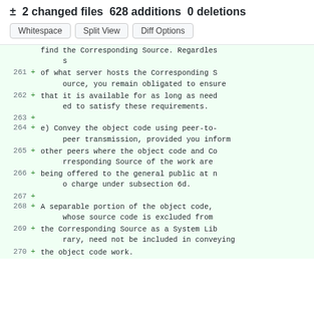± 2 changed files 628 additions 0 deletions
Whitespace | Split View | Diff Options
find the Corresponding Source. Regardless
261 + of what server hosts the Corresponding Source, you remain obligated to ensure
262 + that it is available for as long as needed to satisfy these requirements.
263 +
264 + e) Convey the object code using peer-to-peer transmission, provided you inform
265 + other peers where the object code and Corresponding Source of the work are
266 + being offered to the general public at no charge under subsection 6d.
267 +
268 + A separable portion of the object code, whose source code is excluded from
269 + the Corresponding Source as a System Library, need not be included in conveying
270 + the object code work.